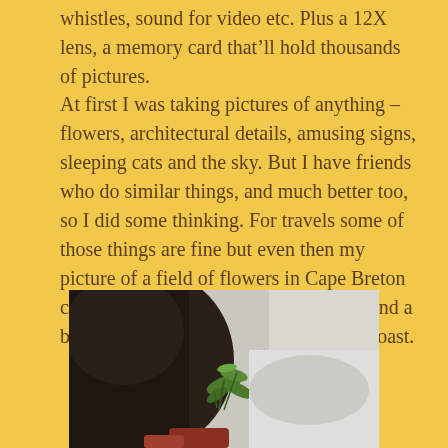whistles, sound for video etc. Plus a 12X lens, a memory card that’ll hold thousands of pictures.
At first I was taking pictures of anything – flowers, architectural details, amusing signs, sleeping cats and the sky. But I have friends who do similar things, and much better too, so I did some thinking. For travels some of those things are fine but even then my picture of a field of flowers in Cape Breton could be by anyone. Memories for me and a bit of color for my blog about the east coast.
[Figure (photo): A photograph showing what appears to be a plant or small creature near a sidewalk or concrete surface, viewed from above.]